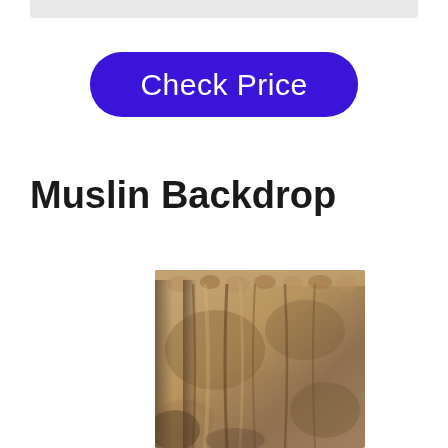[Figure (other): Gray top bar / search bar element at the top of the page]
Check Price
Muslin Backdrop
[Figure (photo): Photo of a tan/brown mottled muslin photography backdrop fabric hanging with gathered folds at the top]